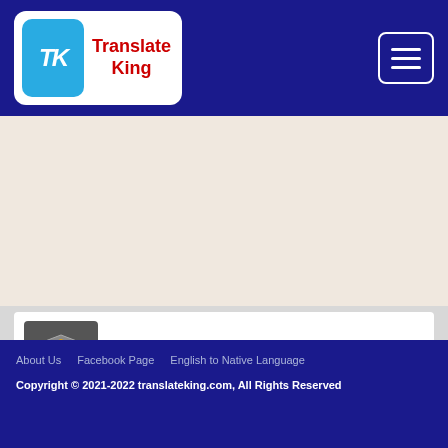Translate King
[Figure (logo): Translate King logo with TK monogram in blue rounded square and red text]
[Figure (screenshot): Hamburger menu button (three horizontal bars) in white border rounded square on dark blue background]
[Figure (screenshot): Advertisement banner: No wifi? No Power? No problem. Bestbuy.com with shield logo and blue arrow icon]
No wifi? No Power? No problem.
Bestbuy.com
About Us   Facebook Page   English to Native Language
Copyright © 2021-2022 translateking.com, All Rights Reserved